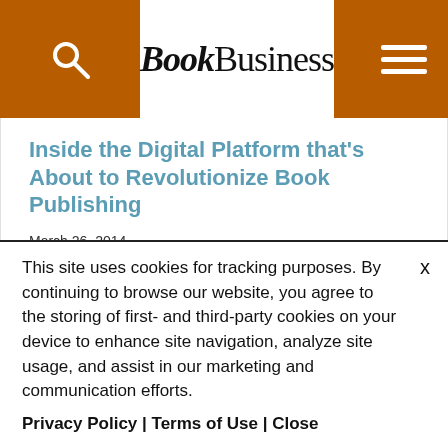BookBusiness
Inside the Digital Platform that's About to Revolutionize Book Publishing
March 26, 2014
The e-book is not going away - and that's not a bad thing for books.
Ever since the advent of the Kindle,
This site uses cookies for tracking purposes. By continuing to browse our website, you agree to the storing of first- and third-party cookies on your device to enhance site navigation, analyze site usage, and assist in our marketing and communication efforts.
Privacy Policy | Terms of Use | Close